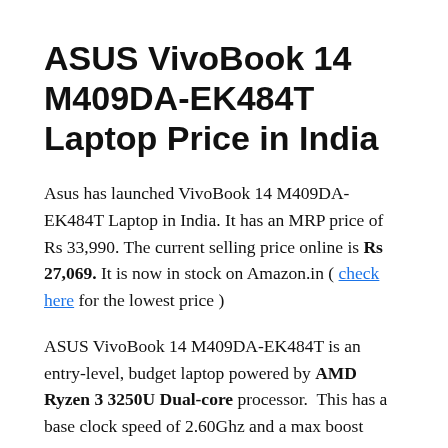ASUS VivoBook 14 M409DA-EK484T Laptop Price in India
Asus has launched VivoBook 14 M409DA-EK484T Laptop in India. It has an MRP price of Rs 33,990. The current selling price online is Rs 27,069. It is now in stock on Amazon.in ( check here for the lowest price )
ASUS VivoBook 14 M409DA-EK484T is an entry-level, budget laptop powered by AMD Ryzen 3 3250U Dual-core processor. This has a base clock speed of 2.60Ghz and a max boost